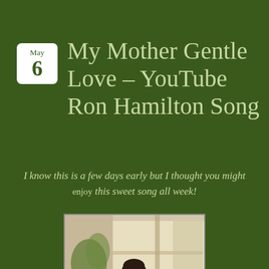My Mother Gentle Love – YouTube Ron Hamilton Song
I know this is a few days early but I thought you might enjoy this sweet song all week!
[Figure (illustration): A classical oil painting showing a woman in a white dress leaning over, tending to something, with a window and plants in the background.]